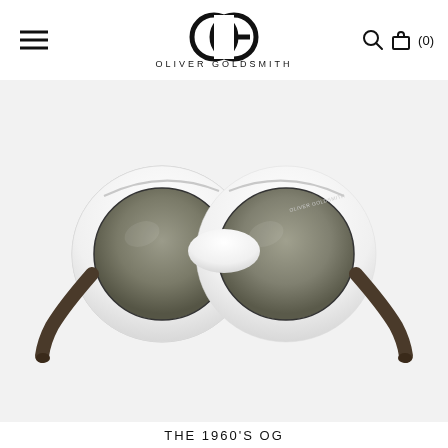OLIVER GOLDSMITH
[Figure (photo): Oliver Goldsmith sunglasses with white/cream round oversized frames and dark gradient lenses, shown front-on against a light grey background.]
THE 1960'S OG